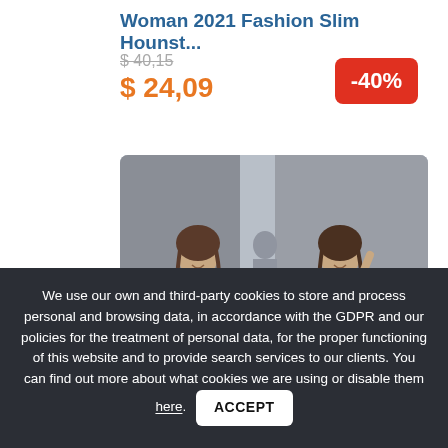Woman 2021 Fashion Slim Hounst...
$ 40,15 (strikethrough old price)
$ 24,09 (current price in orange)
-40%
[Figure (photo): Two women wearing white blazers and white outfits, posing at what appears to be an indoor event or fashion show.]
We use our own and third-party cookies to store and process personal and browsing data, in accordance with the GDPR and our policies for the treatment of personal data, for the proper functioning of this website and to provide search services to our clients. You can find out more about what cookies we are using or disable them here.
ACCEPT